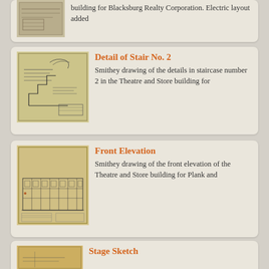[Figure (schematic): Partial view of an architectural drawing card at top of page, showing a blueprint thumbnail and partial text: 'building for Blacksburg Realty Corporation. Electric layout added']
[Figure (engineering-diagram): Smithey architectural detail drawing of staircase No. 2 in the Theatre and Store building]
Detail of Stair No. 2
Smithey drawing of the details in staircase number 2 in the Theatre and Store building for
[Figure (engineering-diagram): Smithey architectural front elevation drawing of the Theatre and Store building]
Front Elevation
Smithey drawing of the front elevation of the Theatre and Store building for Plank and
Stage Sketch